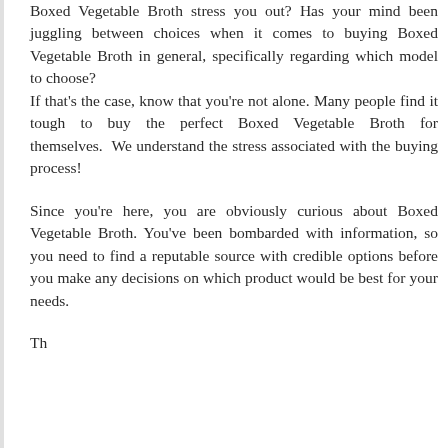Boxed Vegetable Broth stress you out? Has your mind been juggling between choices when it comes to buying Boxed Vegetable Broth in general, specifically regarding which model to choose? If that's the case, know that you're not alone. Many people find it tough to buy the perfect Boxed Vegetable Broth for themselves. We understand the stress associated with the buying process!
Since you're here, you are obviously curious about Boxed Vegetable Broth. You've been bombarded with information, so you need to find a reputable source with credible options before you make any decisions on which product would be best for your needs.
Th... ...that'll